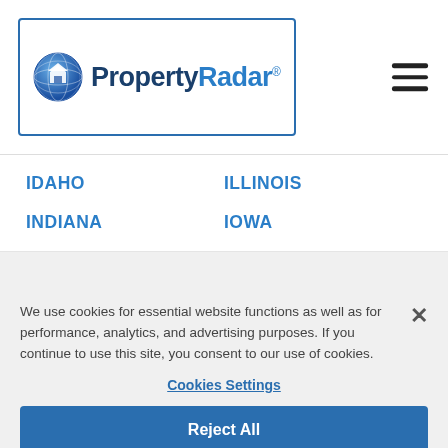[Figure (logo): PropertyRadar logo with globe icon and text 'PropertyRadar']
IDAHO
ILLINOIS
INDIANA
IOWA
We use cookies for essential website functions as well as for performance, analytics, and advertising purposes. If you continue to use this site, you consent to our use of cookies.
Cookies Settings
Reject All
Accept All Cookies